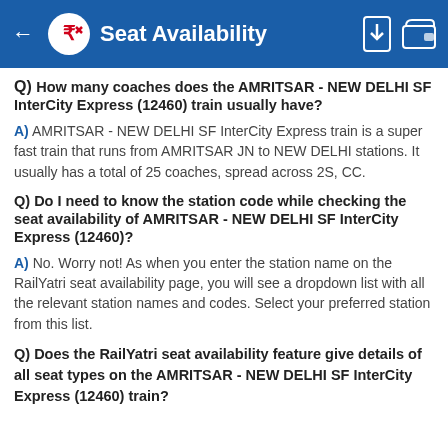Seat Availability
Q) How many coaches does the AMRITSAR - NEW DELHI SF InterCity Express (12460) train usually have?
A) AMRITSAR - NEW DELHI SF InterCity Express train is a super fast train that runs from AMRITSAR JN to NEW DELHI stations. It usually has a total of 25 coaches, spread across 2S, CC.
Q) Do I need to know the station code while checking the seat availability of AMRITSAR - NEW DELHI SF InterCity Express (12460)?
A) No. Worry not! As when you enter the station name on the RailYatri seat availability page, you will see a dropdown list with all the relevant station names and codes. Select your preferred station from this list.
Q) Does the RailYatri seat availability feature give details of all seat types on the AMRITSAR - NEW DELHI SF InterCity Express (12460) train?